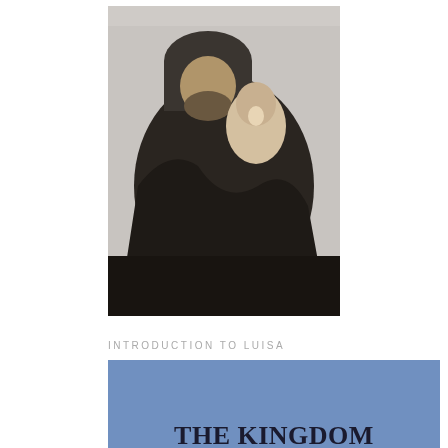[Figure (photo): Black and white vintage photograph of a person in dark clothing holding a baby or small child]
INTRODUCTION TO LUISA
[Figure (illustration): Blue book cover with bold black text reading 'THE KINGDOM OF THE DIVINE WILL' and subtitle 'An Introduction to the Servant of God Luisa Piccarreta The Little Daughter of the Divine Will']